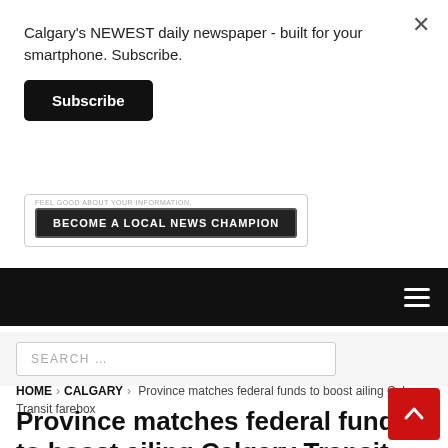Calgary's NEWEST daily newspaper - built for your smartphone. Subscribe.
Subscribe
[Figure (screenshot): Banner advertisement: 'FEEL GOOD ABOUT YOUR INFORMATION. BECOME A LOCAL NEWS CHAMPION' button]
Navigation bar with hamburger menu icon
SEARCH …
HOME > CALGARY > Province matches federal funds to boost ailing Calgary Transit farebox
Province matches federal funds to boost ailing Calgary Transit